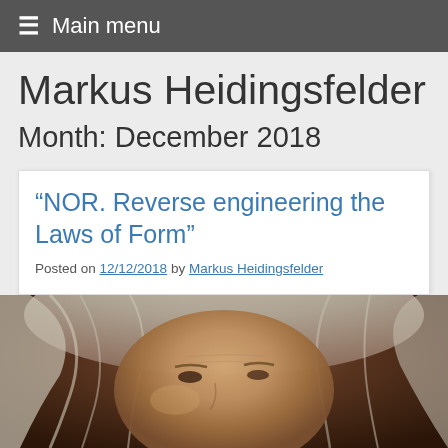Main menu
Markus Heidingsfelder
Month: December 2018
“NOR. Reverse engineering the Laws of Form”
Posted on 12/12/2018 by Markus Heidingsfelder
[Figure (photo): Close-up photo of a person with long grey/white hair, partial face visible, warm dark background]